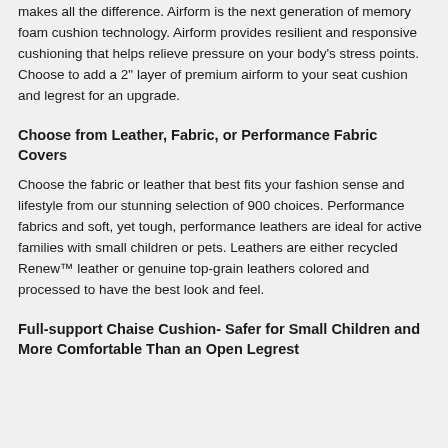makes all the difference. Airform is the next generation of memory foam cushion technology. Airform provides resilient and responsive cushioning that helps relieve pressure on your body's stress points. Choose to add a 2" layer of premium airform to your seat cushion and legrest for an upgrade.
Choose from Leather, Fabric, or Performance Fabric Covers
Choose the fabric or leather that best fits your fashion sense and lifestyle from our stunning selection of 900 choices. Performance fabrics and soft, yet tough, performance leathers are ideal for active families with small children or pets. Leathers are either recycled Renew™ leather or genuine top-grain leathers colored and processed to have the best look and feel.
Full-support Chaise Cushion- Safer for Small Children and More Comfortable Than an Open Legrest